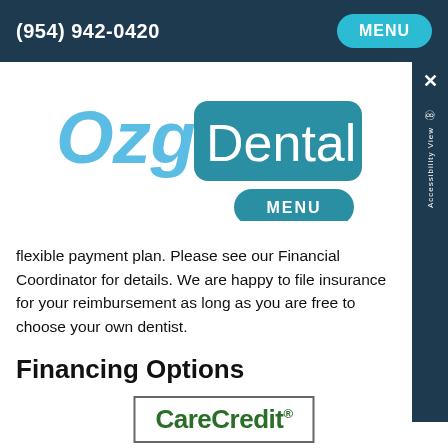(954) 942-0420  MENU
[Figure (logo): Ozga Dental logo with 'Ozga' in light blue italic bold text and 'Dental' in white text on a teal/dark blue rounded rectangle background, with a secondary teal MENU button below]
flexible payment plan. Please see our Financial Coordinator for details. We are happy to file insurance for your reimbursement as long as you are free to choose your own dentist.
Financing Options
[Figure (logo): CareCredit logo in dark green bold text inside a rectangular border box with a registered trademark symbol]
CareCredit is here to help you pay for treatments and procedures your insurance doesn't cover. We offer No Interest* financing or low minimum monthly payment options so you can get what you want, when you want it.